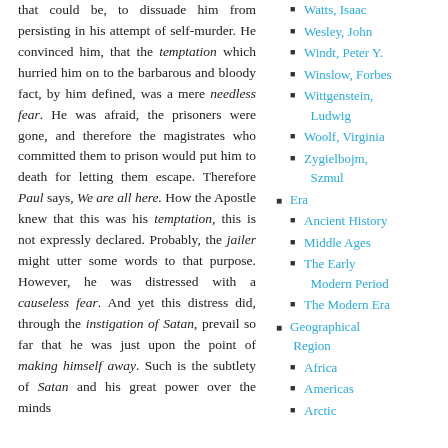that could be, to dissuade him from persisting in his attempt of self-murder. He convinced him, that the temptation which hurried him on to the barbarous and bloody fact, by him defined, was a mere needless fear. He was afraid, the prisoners were gone, and therefore the magistrates who committed them to prison would put him to death for letting them escape. Therefore Paul says, We are all here. How the Apostle knew that this was his temptation, this is not expressly declared. Probably, the jailer might utter some words to that purpose. However, he was distressed with a causeless fear. And yet this distress did, through the instigation of Satan, prevail so far that he was just upon the point of making himself away. Such is the subtlety of Satan and his great power over the minds
Watts, Isaac
Wesley, John
Windt, Peter Y.
Winslow, Forbes
Wittgenstein, Ludwig
Woolf, Virginia
Zygielbojm, Szmul
Era
Ancient History
Middle Ages
The Early Modern Period
The Modern Era
Geographical Region
Africa
Americas
Arctic